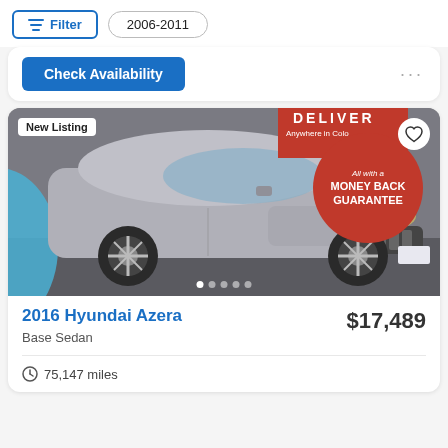Filter | 2006-2011
Check Availability
[Figure (photo): 2016 Hyundai Azera silver sedan shown from front 3/4 angle in a dealership lot. A 'New Listing' badge appears in top left. A red circular badge reads 'DELIVER Anywhere in Colo... All with a MONEY BACK GUARANTEE'. A heart/favorite icon is in the top right. Image carousel dots appear at the bottom.]
2016 Hyundai Azera
Base Sedan
$17,489
75,147 miles